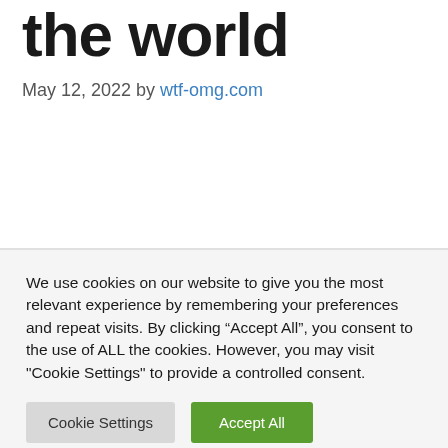the world
May 12, 2022 by wtf-omg.com
We use cookies on our website to give you the most relevant experience by remembering your preferences and repeat visits. By clicking “Accept All”, you consent to the use of ALL the cookies. However, you may visit "Cookie Settings" to provide a controlled consent.